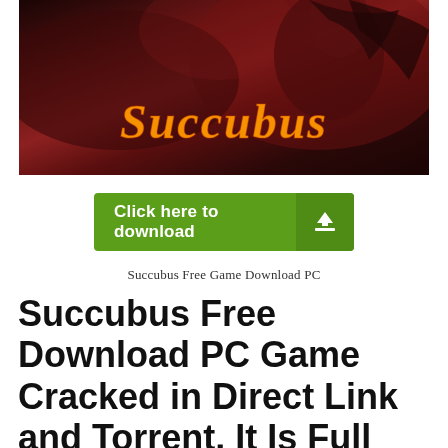[Figure (illustration): Succubus game banner image with dark red/brown background showing a female character and the word 'Succubus' in golden flame-styled lettering]
[Figure (infographic): Green download button with 'Click here to download' text and a download arrow icon on the right side]
Succubus Free Game Download PC
Succubus Free Download PC Game Cracked in Direct Link and Torrent. It Is Full